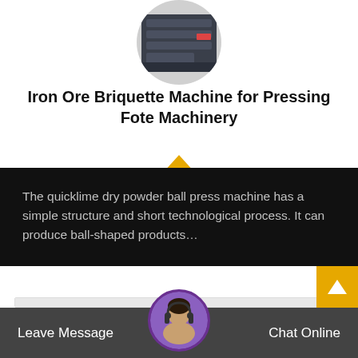[Figure (photo): Circular cropped photo of an iron ore briquette machine (dark gray industrial machine) at the top of the page]
Iron Ore Briquette Machine for Pressing Fote Machinery
The quicklime dry powder ball press machine has a simple structure and short technological process. It can produce ball-shaped products…
[Figure (photo): Circular cropped photo of industrial machinery inside a card section, partially visible]
[Figure (photo): Small circular portrait of a customer service agent wearing a headset, shown in the bottom bar area]